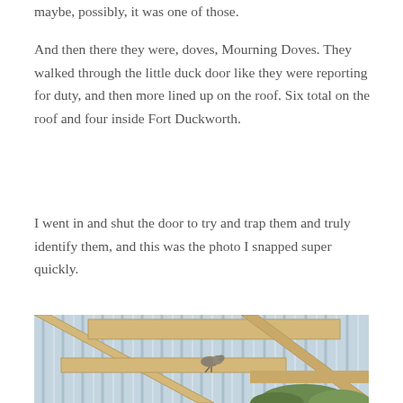maybe, possibly, it was one of those.
And then there they were, doves, Mourning Doves. They walked through the little duck door like they were reporting for duty, and then more lined up on the roof. Six total on the roof and four inside Fort Duckworth.
I went in and shut the door to try and trap them and truly identify them, and this was the photo I snapped super quickly.
[Figure (photo): Interior photo of a wooden structure (Fort Duckworth) showing wooden beams and rafters against a corrugated metal roof, with a dove visible perched on one of the beams, and greenery visible in the background.]